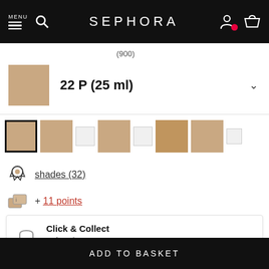SEPHORA
(900)
22 P (25 ml)
[Figure (other): Row of foundation shade swatches, first one selected with black border, followed by beige and light/empty swatches]
shades (32)
+ 11 points
Click & Collect
Pick up from a store near you
Available
ADD TO BASKET